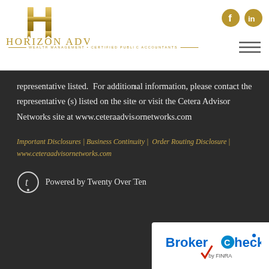[Figure (logo): Horizon Advisers logo with gold H icon, text HORIZON ADVISERS, subtitle WEALTH MANAGEMENT • CERTIFIED PUBLIC ACCOUNTANTS]
[Figure (illustration): Facebook and LinkedIn social media icons (gold circles with f and in)]
[Figure (illustration): Hamburger menu icon (three horizontal lines)]
representative listed. For additional information, please contact the representative (s) listed on the site or visit the Cetera Advisor Networks site at www.ceteraadvisornetworks.com
Important Disclosures | Business Continuity | Order Routing Disclosure | www.ceteraadvisornetworks.com
Powered by Twenty Over Ten
[Figure (logo): BrokerCheck by FINRA logo in white box]